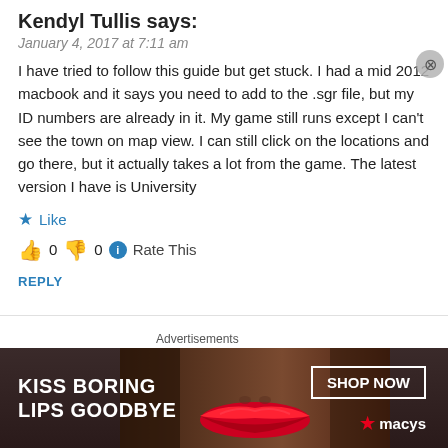Kendyl Tullis says:
January 4, 2017 at 7:11 am
I have tried to follow this guide but get stuck. I had a mid 2012 macbook and it says you need to add to the .sgr file, but my ID numbers are already in it. My game still runs except I can't see the town on map view. I can still click on the locations and go there, but it actually takes a lot from the game. The latest version I have is University
★ Like
👍 0 👎 0 ℹ Rate This
REPLY
ashleehastulips says:
May 7, 2017 at 4:45 pm
[Figure (other): Macy's advertisement banner: 'KISS BORING LIPS GOODBYE' with SHOP NOW button and Macy's star logo, featuring a woman's face with red lips]